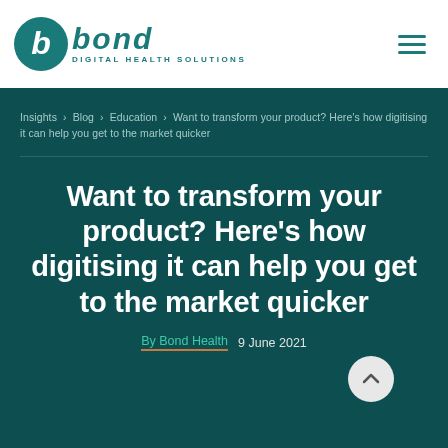[Figure (logo): Bond Digital Health Solutions logo with teal circle containing letter b and italic bond text with tagline DIGITAL HEALTH SOLUTIONS]
Bond Digital Health Solutions — navigation header with hamburger menu
Insights > Blog > Education > Want to transform your product? Here's how digitising it can help you get to the market quicker
Want to transform your product? Here's how digitising it can help you get to the market quicker
By Bond Health   9 June 2021